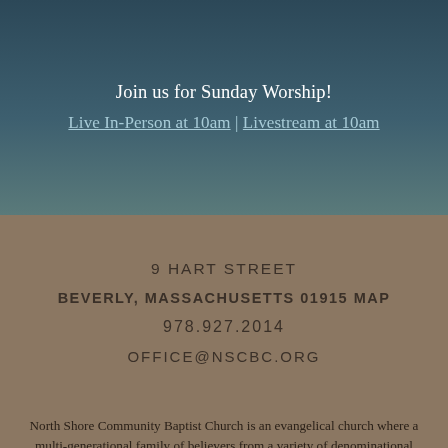X
Join us for Sunday Worship!
Live In-Person at 10am | Livestream at 10am
9 HART STREET
BEVERLY, MASSACHUSETTS 01915 MAP
978.927.2014
OFFICE@NSCBC.ORG
North Shore Community Baptist Church is an evangelical church where a multi-generational family of believers from a variety of denominational backgrounds worship and serve the community together. We are known as a friendly place to grow in Christ with great small group, youth, and children ministries. On beautiful Cape Ann,